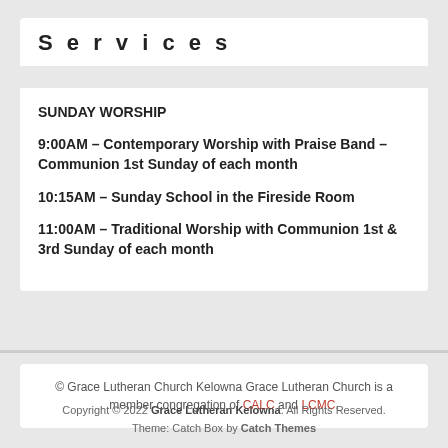Services
SUNDAY WORSHIP
9:00AM – Contemporary Worship with Praise Band – Communion 1st Sunday of each month
10:15AM – Sunday School in the Fireside Room
11:00AM – Traditional Worship with Communion 1st & 3rd Sunday of each month
© Grace Lutheran Church Kelowna Grace Lutheran Church is a member congregation of CALC and LCMC.
Copyright © 2022 Grace Lutheran Kelowna. All Rights Reserved. Theme: Catch Box by Catch Themes